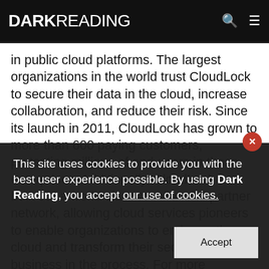DARK Reading
in public cloud platforms. The largest organizations in the world trust CloudLock to secure their data in the cloud, increase collaboration, and reduce their risk. Since its launch in 2011, CloudLock has grown to more than 600 paying customers, protecting millions of end-users in those enterprises. Additionally, CloudLock has built out a world-class reseller and partner network, allowing cloud services pioneers to enable organizations to embrace the cloud and transform their security and business in the process. For more information about th
This site uses cookies to provide you with the best user experience possible. By using Dark Reading, you accept our use of cookies.